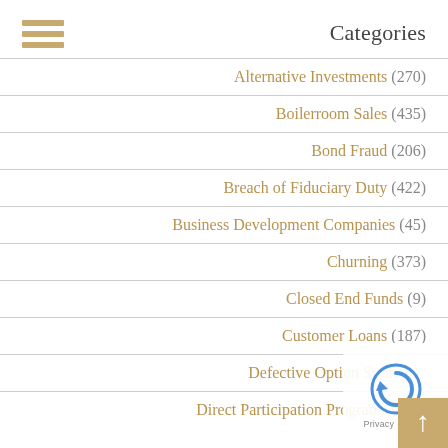Categories
Alternative Investments (270)
Boilerroom Sales (435)
Bond Fraud (206)
Breach of Fiduciary Duty (422)
Business Development Companies (45)
Churning (373)
Closed End Funds (9)
Customer Loans (187)
Defective Option Strategies
Direct Participation Programs (104)